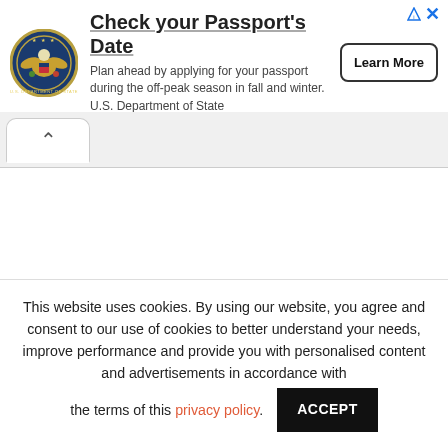[Figure (infographic): Advertisement banner: U.S. Department of State seal logo on left, headline 'Check your Passport's Date', body text about applying during off-peak season, and a 'Learn More' button on the right. Small ad icon (triangle) and X close button in top-right corner.]
[Figure (screenshot): Browser tab/back-button area showing a white rounded tab on grey background with an up-chevron arrow icon.]
This website uses cookies. By using our website, you agree and consent to our use of cookies to better understand your needs, improve performance and provide you with personalised content and advertisements in accordance with the terms of this privacy policy.